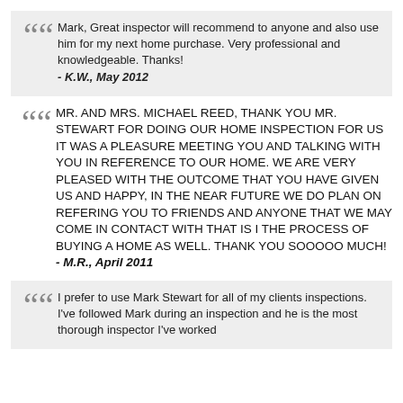Mark, Great inspector will recommend to anyone and also use him for my next home purchase. Very professional and knowledgeable. Thanks! - K.W., May 2012
MR. AND MRS. MICHAEL REED, THANK YOU MR. STEWART FOR DOING OUR HOME INSPECTION FOR US IT WAS A PLEASURE MEETING YOU AND TALKING WITH YOU IN REFERENCE TO OUR HOME. WE ARE VERY PLEASED WITH THE OUTCOME THAT YOU HAVE GIVEN US AND HAPPY, IN THE NEAR FUTURE WE DO PLAN ON REFERING YOU TO FRIENDS AND ANYONE THAT WE MAY COME IN CONTACT WITH THAT IS I THE PROCESS OF BUYING A HOME AS WELL. THANK YOU SOOOOO MUCH! - M.R., April 2011
I prefer to use Mark Stewart for all of my clients inspections. I've followed Mark during an inspection and he is the most thorough inspector I've worked